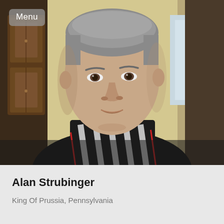[Figure (photo): Portrait photo of a middle-aged man with short gray hair, wearing a black and white striped shirt with red accents. He is seated indoors with a wooden cabinet and yellow wall in the background. A 'Menu' button overlay appears in the top-left corner.]
Alan Strubinger
King Of Prussia, Pennsylvania